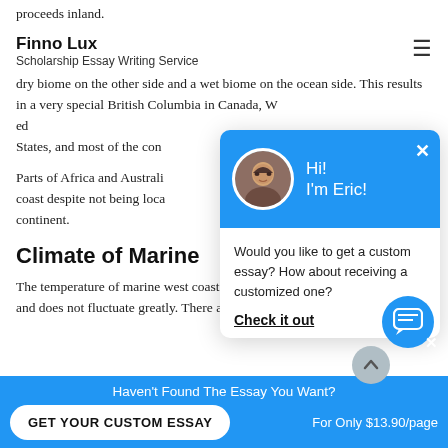proceeds inland.
Finno Lux
Scholarship Essay Writing Service
dry biome on the other side and a wet biome on the ocean side. This results in a very special British Columbia in Canada, W... ed States, and most of the con...
Parts of Africa and Australia... coast despite not being loca... continent.
Climate of Marine
The temperature of marine west coast ecosystems is... and does not fluctuate greatly. There are only two seaso...
[Figure (screenshot): Chat popup widget with blue header showing avatar of Eric and greeting 'Hi! I'm Eric!' with body text 'Would you like to get a custom essay? How about receiving a customized one?' and 'Check it out' CTA link]
[Figure (screenshot): Blue circular chat icon bubble in bottom right]
Haven't Found The Essay You Want?
GET YOUR CUSTOM ESSAY
For Only $13.90/page